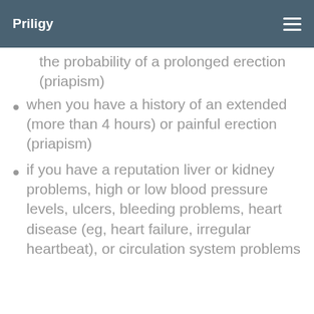Priligy
the probability of a prolonged erection (priapism)
when you have a history of an extended (more than 4 hours) or painful erection (priapism)
if you have a reputation liver or kidney problems, high or low blood pressure levels, ulcers, bleeding problems, heart disease (eg, heart failure, irregular heartbeat), or circulation system problems